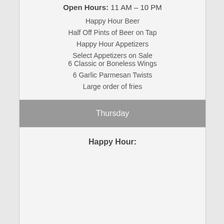Open Hours: 11 AM – 10 PM
Happy Hour Beer
Half Off Pints of Beer on Tap
Happy Hour Appetizers
Select Appetizers on Sale
6 Classic or Boneless Wings
6 Garlic Parmesan Twists
Large order of fries
Thursday
Happy Hour: